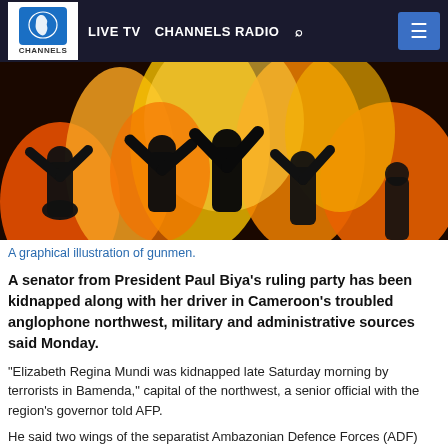LIVE TV  CHANNELS RADIO
[Figure (illustration): A graphical illustration of gunmen silhouetted against orange and yellow flames/fire background.]
A graphical illustration of gunmen.
A senator from President Paul Biya's ruling party has been kidnapped along with her driver in Cameroon's troubled anglophone northwest, military and administrative sources said Monday.
“Elizabeth Regina Mundi was kidnapped late Saturday morning by terrorists in Bamenda,” capital of the northwest, a senior official with the region's governor told AFP.
He said two wings of the separatist Ambazonian Defence Forces (ADF) had claimed responsibility for the abduction. Ambazonia is the republic the rebels would like to proclaim after independence.